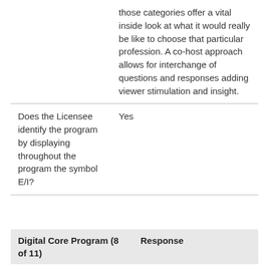|  | those categories offer a vital inside look at what it would really be like to choose that particular profession. A co-host approach allows for interchange of questions and responses adding viewer stimulation and insight. |
| Does the Licensee identify the program by displaying throughout the program the symbol E/I? | Yes |
| Digital Core Program (8 of 11) | Response |
| --- | --- |